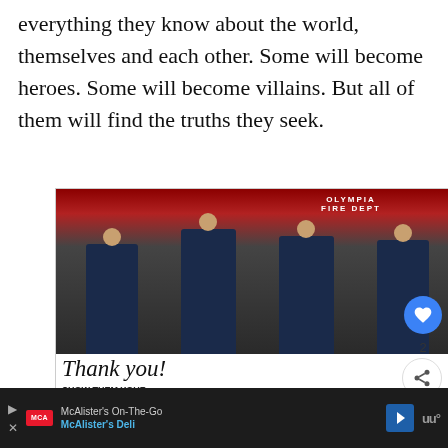everything they know about the world, themselves and each other. Some will become heroes. Some will become villains. But all of them will find the truths they seek.
[Figure (photo): Advertisement photo showing firefighters from Olympia Fire Department standing in front of a fire truck, with boxes of donated items. Text reads 'Thank you! Show Them Your Support – Operation Gratitude'. A red, white and blue star-pencil graphic is overlaid.]
[Figure (photo): What's Next thumbnail: Aquaman 2 Could Be In...]
WHAT'S NEXT → 'Aquaman' 2 Could Be In...
McAlister's On-The-Go McAlister's Deli